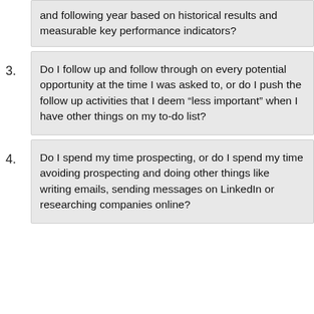and following year based on historical results and measurable key performance indicators?
3. Do I follow up and follow through on every potential opportunity at the time I was asked to, or do I push the follow up activities that I deem “less important” when I have other things on my to-do list?
4. Do I spend my time prospecting, or do I spend my time avoiding prospecting and doing other things like writing emails, sending messages on LinkedIn or researching companies online?